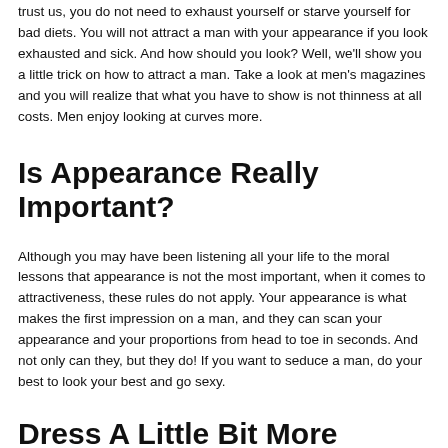trust us, you do not need to exhaust yourself or starve yourself for bad diets. You will not attract a man with your appearance if you look exhausted and sick. And how should you look? Well, we'll show you a little trick on how to attract a man. Take a look at men's magazines and you will realize that what you have to show is not thinness at all costs. Men enjoy looking at curves more.
Is Appearance Really Important?
Although you may have been listening all your life to the moral lessons that appearance is not the most important, when it comes to attractiveness, these rules do not apply. Your appearance is what makes the first impression on a man, and they can scan your appearance and your proportions from head to toe in seconds. And not only can they, but they do! If you want to seduce a man, do your best to look your best and go sexy.
Dress A Little Bit More Challenging